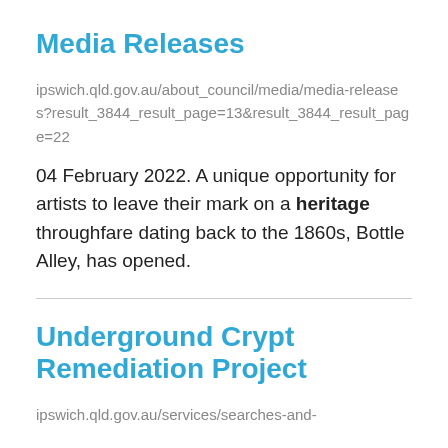Media Releases
ipswich.qld.gov.au/about_council/media/media-releases?result_3844_result_page=13&result_3844_result_page=22
04 February 2022. A unique opportunity for artists to leave their mark on a heritage throughfare dating back to the 1860s, Bottle Alley, has opened.
Underground Crypt Remediation Project
ipswich.qld.gov.au/services/searches-and-